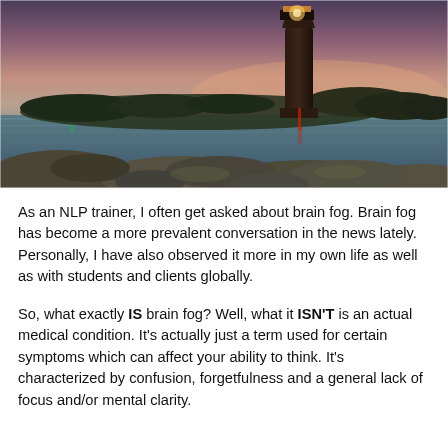[Figure (photo): Photograph of a lighthouse at dusk beside a body of water, with rocks in the foreground, trees on an island in the background, and a colorful sky with pink and blue tones.]
As an NLP trainer, I often get asked about brain fog. Brain fog has become a more prevalent conversation in the news lately. Personally, I have also observed it more in my own life as well as with students and clients globally.
So, what exactly IS brain fog? Well, what it ISN'T is an actual medical condition. It's actually just a term used for certain symptoms which can affect your ability to think. It's characterized by confusion, forgetfulness and a general lack of focus and/or mental clarity.